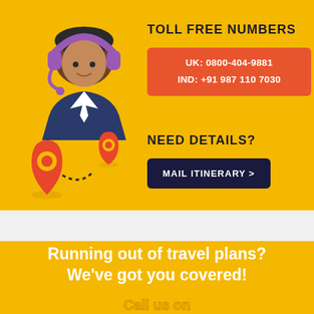[Figure (illustration): Customer support agent with headset icon in blue and dark colors]
TOLL FREE NUMBERS
UK: 0800-404-9881
IND: +91 987 110 7030
[Figure (illustration): Two red map pin location markers connected by dotted line]
NEED DETAILS?
MAIL ITINERARY >
Running out of travel plans?
We've got you covered!
Call us on